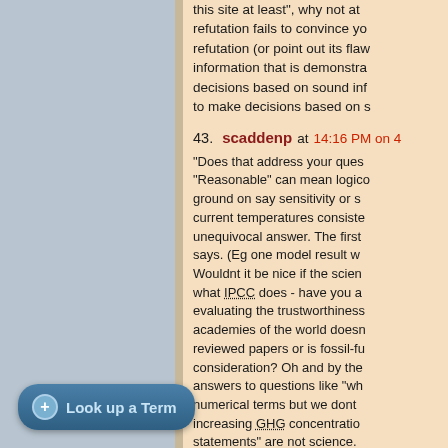this site at least", why not at refutation fails to convince yo refutation (or point out its flaw information that is demonstra decisions based on sound inf to make decisions based on s
43. scaddenp at 14:16 PM on 4
"Does that address your ques "Reasonable" can mean logico ground on say sensitivity or s current temperatures consiste unequivocal answer. The first says. (Eg one model result w Wouldnt it be nice if the scien what IPCC does - have you a evaluating the trustworthiness academies of the world doesn reviewed papers or is fossil-fu consideration? Oh and by the answers to questions like "wh numerical terms but we dont increasing GHG concentratio statements" are not science. media. Is it from a press-relea someone's opinion. As with m
[Figure (other): Look up a Term button with blue rounded rectangle background and plus icon]